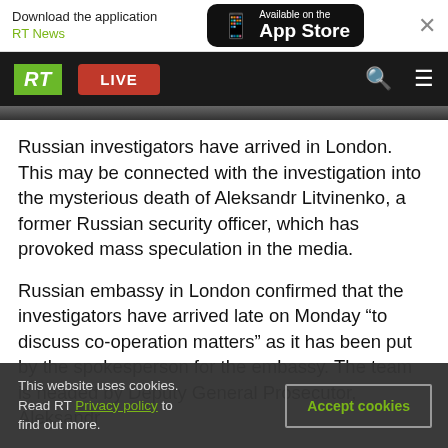Download the application RT News — Available on the App Store
RT LIVE [navigation bar with search and menu]
Russian investigators have arrived in London. This may be connected with the investigation into the mysterious death of Aleksandr Litvinenko, a former Russian security officer, which has provoked mass speculation in the media.
Russian embassy in London confirmed that the investigators have arrived late on Monday “to discuss co-operation matters” as it has been put by the spokesperson for the embassy. The team is headed by Deputy General Prosecutor, Aleksandr
This website uses cookies. Read RT Privacy policy to find out more. Accept cookies